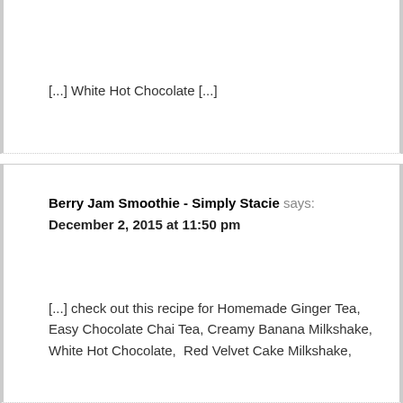[...] White Hot Chocolate [...]
Berry Jam Smoothie - Simply Stacie says:
December 2, 2015 at 11:50 pm
[...] check out this recipe for Homemade Ginger Tea, Easy Chocolate Chai Tea, Creamy Banana Milkshake, White Hot Chocolate,  Red Velvet Cake Milkshake,